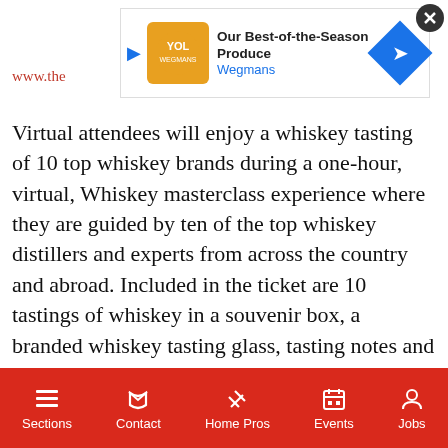[Figure (screenshot): Advertisement banner for Wegmans Best-of-the-Season Produce with logo, play button, and navigation arrow]
place on
www.the
Virtual attendees will enjoy a whiskey tasting of 10 top whiskey brands during a one-hour, virtual, Whiskey masterclass experience where they are guided by ten of the top whiskey distillers and experts from across the country and abroad. Included in the ticket are 10 tastings of whiskey in a souvenir box, a branded whiskey tasting glass, tasting notes and more all delivered to your door so
[Figure (screenshot): Video player popup showing 'Canada, Germany start hydrogen shipm...' with two men signing documents at a table, flags visible in background, mute button shown]
25 class are:
age & Conviction
nia
[Figure (screenshot): Bottom navigation bar with Sections, Contact, Home Pros, Events, Jobs icons on red background]